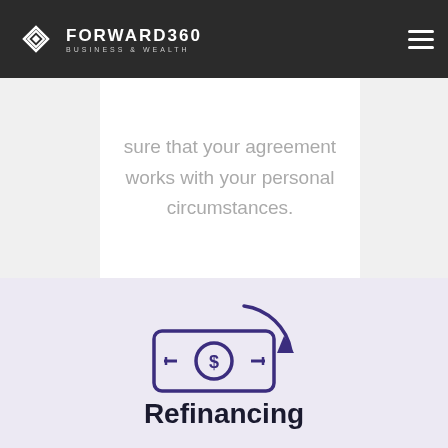FORWARD360 BUSINESS & WEALTH
sure that your agreement works with your personal circumstances.
[Figure (illustration): Icon of a banknote with a dollar sign and a circular arrow indicating refinancing.]
Refinancing